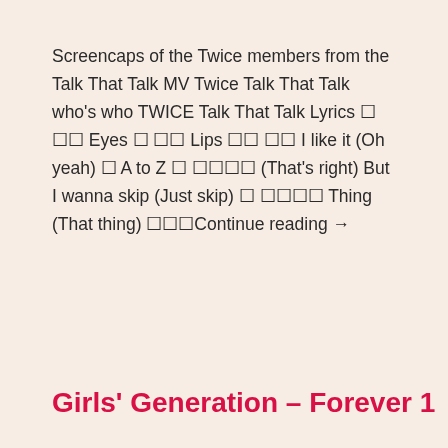Screencaps of the Twice members from the Talk That Talk MV Twice Talk That Talk who's who TWICE Talk That Talk Lyrics 눈 빛 Eyes 입 술 Lips 날 봐 봐 I like it (Oh yeah) 또 A to Z 또 다시다 (That's right) But I wanna skip (Just skip) 그 그거야 Thing (That thing) 계속Continue reading →
Girls' Generation – Forever 1